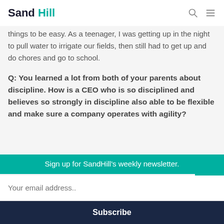Sand Hill
things to be easy. As a teenager, I was getting up in the night to pull water to irrigate our fields, then still had to get up and do chores and go to school.
Q: You learned a lot from both of your parents about discipline. How is a CEO who is so disciplined and believes so strongly in discipline also able to be flexible and make sure a company operates with agility?
Ray Zinn: I think discipline brings agility. I wrote a
Sign up for SandHill's weekly newsletter.
Your email address..
Subscribe